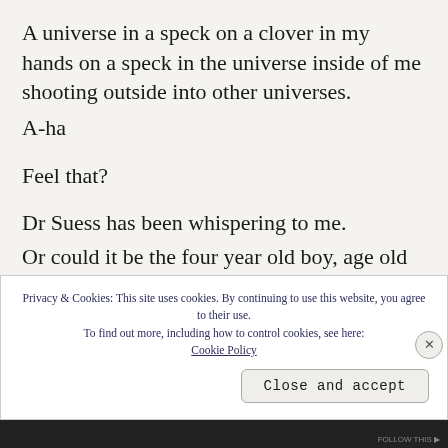A universe in a speck on a clover in my hands on a speck in the universe inside of me shooting outside into other universes.
A-ha
Feel that?
Dr Suess has been whispering to me.
Or could it be the four year old boy, age old soul
lying beside me mumbling truths that I will nurture
Privacy & Cookies: This site uses cookies. By continuing to use this website, you agree to their use. To find out more, including how to control cookies, see here: Cookie Policy
Close and accept